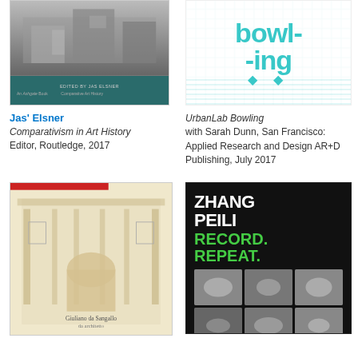[Figure (photo): Book cover: Comparativism in Art History, edited by Jas Elsner, dark teal and grey with building photograph, Ashgate/Routledge]
Jas' Elsner
Comparativism in Art History
Editor, Routledge, 2017
[Figure (photo): Book cover: UrbanLab Bowling, typographic cover with large teal bold letters bowl-ing on white background with geometric pattern]
UrbanLab Bowling with Sarah Dunn, San Francisco: Applied Research and Design AR+D Publishing, July 2017
[Figure (photo): Book cover: Giuliano da Sangallo, architectural sketch/drawing of a building facade on aged paper with red stripe at top]
[Figure (photo): Book cover: Zhang Peili Record. Repeat. Black cover with white and green bold text, grid of small photos of pigeons/birds at bottom]